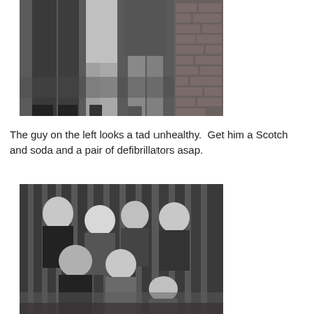[Figure (photo): Black and white vintage photograph showing two people standing, cropped at waist level showing legs and lower bodies, with a brick wall in the background.]
The guy on the left looks a tad unhealthy.  Get him a Scotch and soda and a pair of defibrillators asap.
[Figure (photo): Black and white vintage group photograph showing approximately seven people posed together, including men and women of various ages, with vertical striped background.]